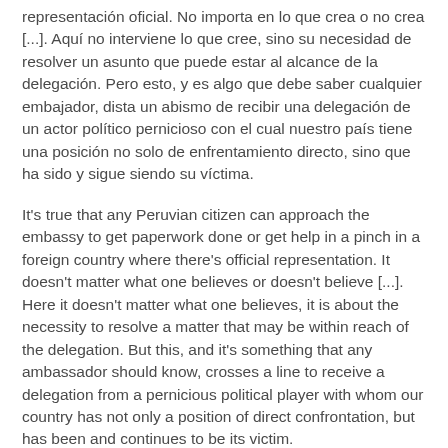representación oficial. No importa en lo que crea o no crea [...]. Aquí no interviene lo que cree, sino su necesidad de resolver un asunto que puede estar al alcance de la delegación. Pero esto, y es algo que debe saber cualquier embajador, dista un abismo de recibir una delegación de un actor político pernicioso con el cual nuestro país tiene una posición no solo de enfrentamiento directo, sino que ha sido y sigue siendo su víctima.
It's true that any Peruvian citizen can approach the embassy to get paperwork done or get help in a pinch in a foreign country where there's official representation. It doesn't matter what one believes or doesn't believe [...]. Here it doesn't matter what one believes, it is about the necessity to resolve a matter that may be within reach of the delegation. But this, and it's something that any ambassador should know, crosses a line to receive a delegation from a pernicious political player with whom our country has not only a position of direct confrontation, but has been and continues to be its victim.